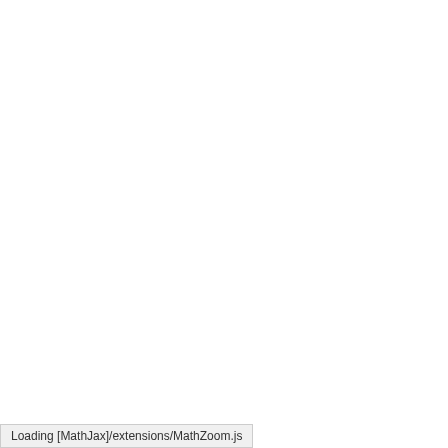cobordisms and 3-dimensional homotopy type of Khovanov...
A Z 4 3 -graded... related fine ...
Diego Aranda-... Commentationes...
We describe t... (a simple stru... algebraically c... is computed. V... gradings on e...
A basic assoc...
McCrimmon, K... Portugaliae m...
A brief revie...
Khovanov, Mik... Theory and Ap...
A character...